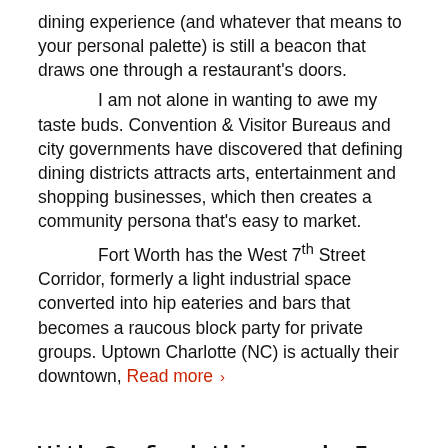dining experience (and whatever that means to your personal palette) is still a beacon that draws one through a restaurant's doors.

I am not alone in wanting to awe my taste buds. Convention & Visitor Bureaus and city governments have discovered that defining dining districts attracts arts, entertainment and shopping businesses, which then creates a community persona that's easy to market.

Fort Worth has the West 7th Street Corridor, formerly a light industrial space converted into hip eateries and bars that becomes a raucous block party for private groups. Uptown Charlotte (NC) is actually their downtown, Read more ›
With Seafood this good, I don't have to learn to fish!